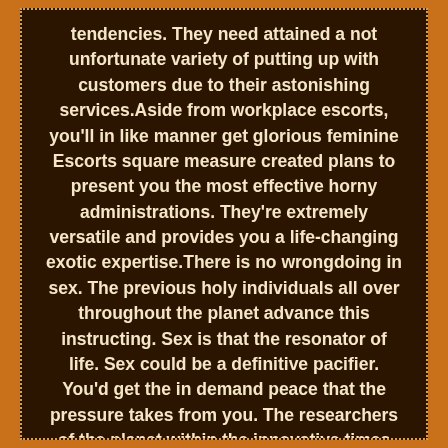tendencies. They need attained a not unfortunate variety of putting up with customers due to their astonishing services.Aside from workplace escorts, you'll in like manner get glorious feminine Escorts square measure created plans to present you the most effective horny administrations. They're extremely versatile and provides you a life-changing exotic expertise.There is no wrongdoing in sex. The previous holy individuals all over throughout the planet advance this instructing. Sex is that the resonator of life. Sex could be a definitive pacifier. You'd get the in demand peace that the pressure takes from you. The researchers of the planet within the innovative times remark that unhappy animalism is that the root to the foremost temperament disappointment in men of this